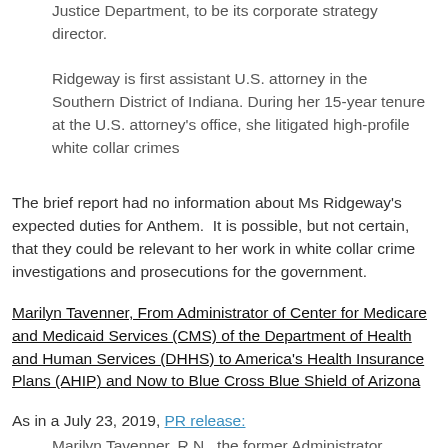Justice Department, to be its corporate strategy director.
Ridgeway is first assistant U.S. attorney in the Southern District of Indiana. During her 15-year tenure at the U.S. attorney's office, she litigated high-profile white collar crimes
The brief report had no information about Ms Ridgeway's expected duties for Anthem.  It is possible, but not certain, that they could be relevant to her work in white collar crime investigations and prosecutions for the government.
Marilyn Tavenner, From Administrator of Center for Medicare and Medicaid Services (CMS) of the Department of Health and Human Services (DHHS) to America's Health Insurance Plans (AHIP) and Now to Blue Cross Blue Shield of Arizona
As in a July 23, 2019, PR release:
Marilyn Tavenner, R.N., the former Administrator